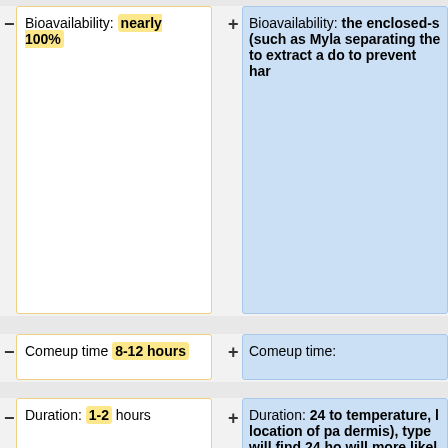− Bioavailability: nearly 100%
+ Bioavailability: the enclosed-s (such as Myla separating the to extract a do to prevent har
− Comeup time 8-12 hours
+ Comeup time:
− Duration: 1-2 hours
+ Duration: 24 to temperature, l location of pa dermis), type will find 24 ho will more likel
− Medium (typical) dose: 400 μg
+ Medium (typica